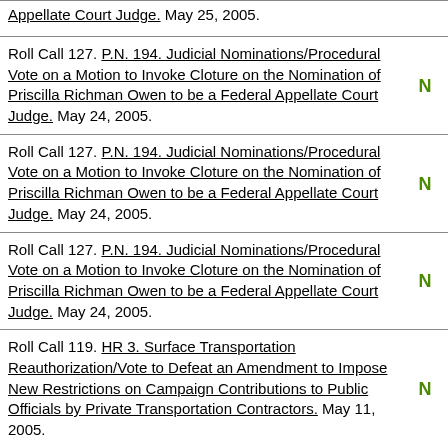Appellate Court Judge. May 25, 2005.
Roll Call 127. P.N. 194. Judicial Nominations/Procedural Vote on a Motion to Invoke Cloture on the Nomination of Priscilla Richman Owen to be a Federal Appellate Court Judge. May 24, 2005. N
Roll Call 127. P.N. 194. Judicial Nominations/Procedural Vote on a Motion to Invoke Cloture on the Nomination of Priscilla Richman Owen to be a Federal Appellate Court Judge. May 24, 2005. N
Roll Call 127. P.N. 194. Judicial Nominations/Procedural Vote on a Motion to Invoke Cloture on the Nomination of Priscilla Richman Owen to be a Federal Appellate Court Judge. May 24, 2005. N
Roll Call 119. HR 3. Surface Transportation Reauthorization/Vote to Defeat an Amendment to Impose New Restrictions on Campaign Contributions to Public Officials by Private Transportation Contractors. May 11, 2005. N
Roll Call 115. Johnson Nomination/Vote to End Debate on the Nomination of Stephen L. Johnson to...